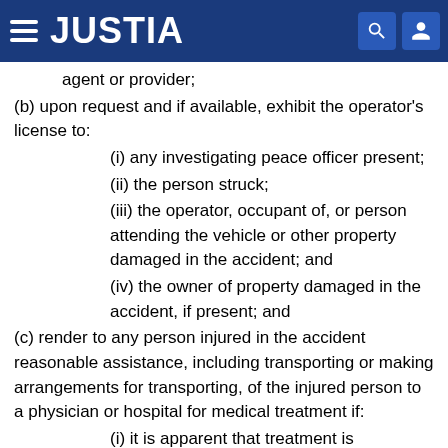JUSTIA
agent or provider;
(b) upon request and if available, exhibit the operator's license to:
(i) any investigating peace officer present;
(ii) the person struck;
(iii) the operator, occupant of, or person attending the vehicle or other property damaged in the accident; and
(iv) the owner of property damaged in the accident, if present; and
(c) render to any person injured in the accident reasonable assistance, including transporting or making arrangements for transporting, of the injured person to a physician or hospital for medical treatment if:
(i) it is apparent that treatment is